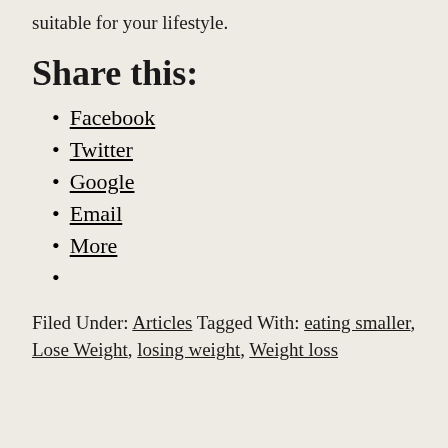suitable for your lifestyle.
Share this:
Facebook
Twitter
Google
Email
More
Filed Under: Articles Tagged With: eating smaller, Lose Weight, losing weight, Weight loss